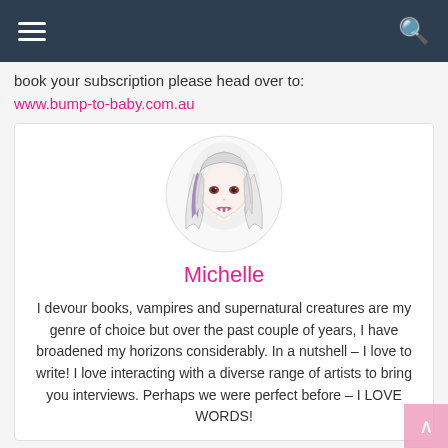≡ [navigation bar with hamburger menu and search icon]
book your subscription please head over to:
www.bump-to-baby.com.au
[Figure (illustration): Circular avatar illustration of a stylized anime-style woman with long flowing hair, purple highlight streak, dark eyes, and small fangs. Black and white line art style.]
Michelle
I devour books, vampires and supernatural creatures are my genre of choice but over the past couple of years, I have broadened my horizons considerably. In a nutshell – I love to write! I love interacting with a diverse range of artists to bring you interviews. Perhaps we were perfect before – I LOVE WORDS!